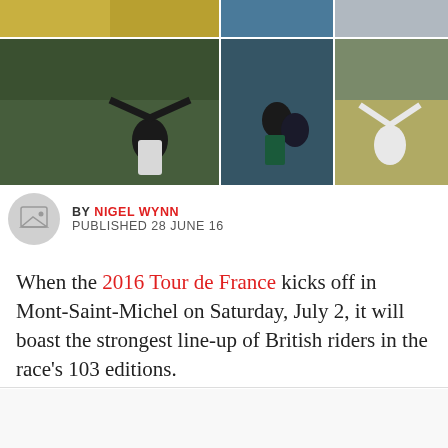[Figure (photo): Grid of six cycling race photos showing British riders at Tour de France, including a cyclist celebrating a stage win with arms raised, peloton racing, and another winner celebrating.]
BY NIGEL WYNN
PUBLISHED 28 JUNE 16
When the 2016 Tour de France kicks off in Mont-Saint-Michel on Saturday, July 2, it will boast the strongest line-up of British riders in the race's 103 editions.